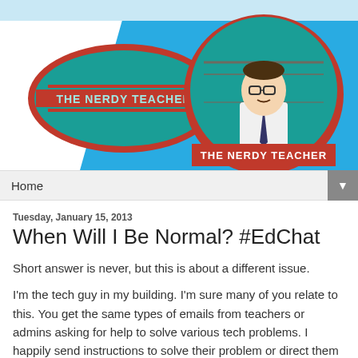[Figure (illustration): The Nerdy Teacher blog banner. Left side white background with a London Underground-style oval logo reading 'THE NERDY TEACHER' in teal/cyan with red border. Right side has a blue diagonal background with a circular badge containing an illustrated nerdy man in glasses, white shirt and tie, with a teal mechanical/pipe background, and 'THE NERDY TEACHER' text below in red banner.]
Home
Tuesday, January 15, 2013
When Will I Be Normal? #EdChat
Short answer is never, but this is about a different issue.
I'm the tech guy in my building. I'm sure many of you relate to this. You get the same types of emails from teachers or admins asking for help to solve various tech problems. I happily send instructions to solve their problem or direct them to the correct website for the answer they need. I am